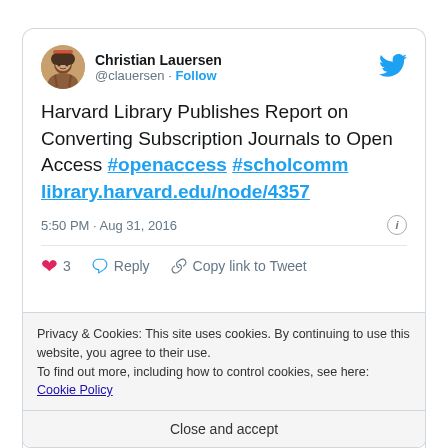[Figure (screenshot): Tweet by Christian Lauersen (@clauersen) about Harvard Library publishing report on converting subscription journals to open access, with hashtags #openaccess #scholcomm and link to library.harvard.edu/node/4357. Posted 5:50 PM Aug 31, 2016. 3 likes. Cookie consent bar visible at bottom.]